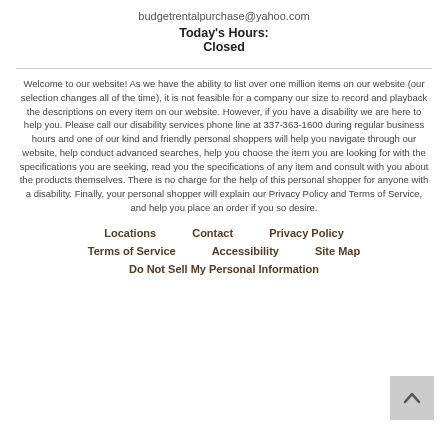budgetrentalpurchase@yahoo.com
Today's Hours:
Closed
Welcome to our website! As we have the ability to list over one million items on our website (our selection changes all of the time), it is not feasible for a company our size to record and playback the descriptions on every item on our website. However, if you have a disability we are here to help you. Please call our disability services phone line at 337-363-1600 during regular business hours and one of our kind and friendly personal shoppers will help you navigate through our website, help conduct advanced searches, help you choose the item you are looking for with the specifications you are seeking, read you the specifications of any item and consult with you about the products themselves. There is no charge for the help of this personal shopper for anyone with a disability. Finally, your personal shopper will explain our Privacy Policy and Terms of Service, and help you place an order if you so desire.
Locations | Contact | Privacy Policy | Terms of Service | Accessibility | Site Map | Do Not Sell My Personal Information